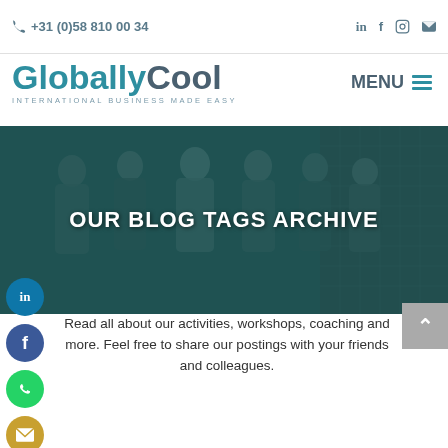+31 (0)58 810 00 34
[Figure (logo): GloballyCool logo with tagline INTERNATIONAL BUSINESS MADE EASY]
MENU
[Figure (photo): Group of six women standing in front of a modern glass building, teal-toned overlay with text OUR BLOG TAGS ARCHIVE]
Read all about our activities, workshops, coaching and more. Feel free to share our postings with your friends and colleagues.